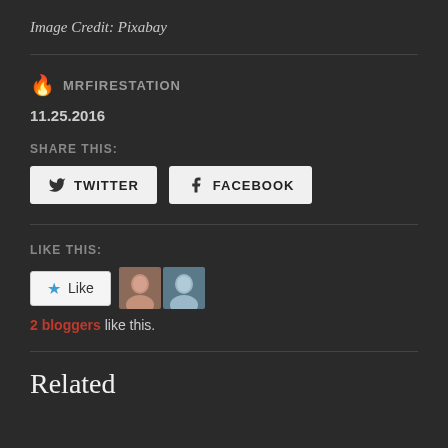Image Credit: Pixabay
🔥 MRFIRESTATION
11.25.2016
SHARE THIS:
TWITTER   FACEBOOK
LIKE THIS:
Like
2 bloggers like this.
Related